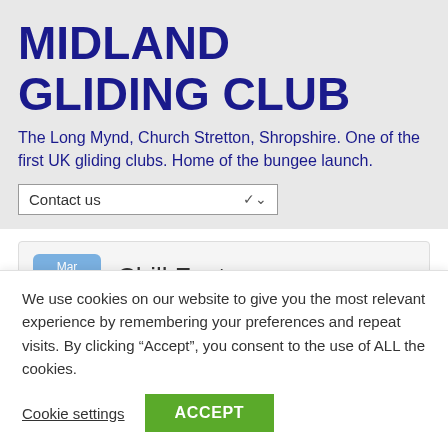MIDLAND GLIDING CLUB
The Long Mynd, Church Stretton, Shropshire. One of the first UK gliding clubs. Home of the bungee launch.
Contact us
Chill Factor
Mar 01 2018
Add comments
We use cookies on our website to give you the most relevant experience by remembering your preferences and repeat visits. By clicking “Accept”, you consent to the use of ALL the cookies.
Cookie settings
ACCEPT